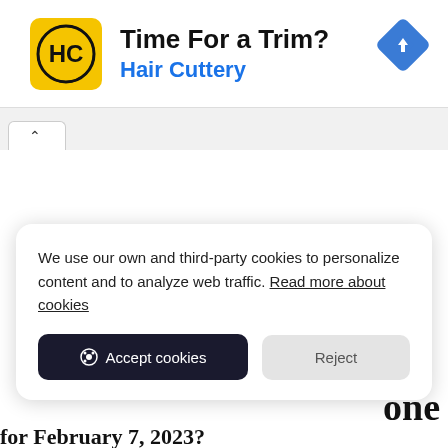[Figure (screenshot): Advertisement banner for Hair Cuttery with yellow logo, headline 'Time For a Trim?', brand name 'Hair Cuttery' in blue, and a blue navigation diamond icon on the right.]
[Figure (screenshot): Browser tab bar showing a single open tab with caret/chevron icon.]
We use our own and third-party cookies to personalize content and to analyze web traffic. Read more about cookies
Accept cookies   Reject
one
for February 7, 2023?